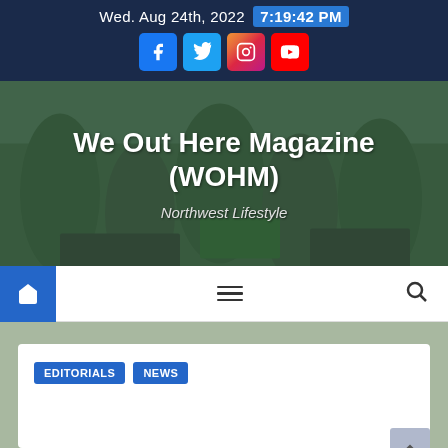Wed. Aug 24th, 2022  7:19:42 PM
[Figure (screenshot): Social media icons: Facebook (blue), Twitter (light blue), Instagram (gradient), YouTube (red)]
[Figure (photo): Crowd protest photo with teal overlay showing people holding Black Lives Matter signs]
We Out Here Magazine (WOHM)
Northwest Lifestyle
[Figure (infographic): Navigation bar with home icon (blue square), hamburger menu, and search icon]
EDITORIALS
NEWS